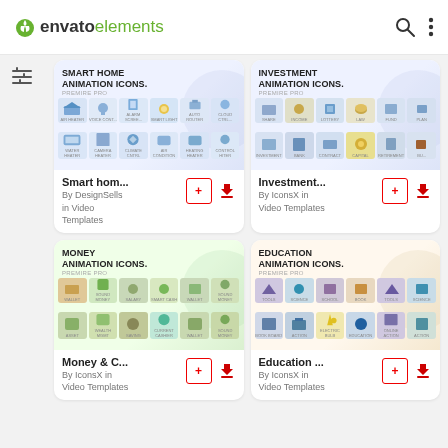envato elements
[Figure (screenshot): Envato Elements app screenshot showing animation icon template products in a grid layout]
Smart hom... By DesignSells in Video Templates
Investment... By IconsX in Video Templates
Money & C... By IconsX in Video Templates
Education ... By IconsX in Video Templates